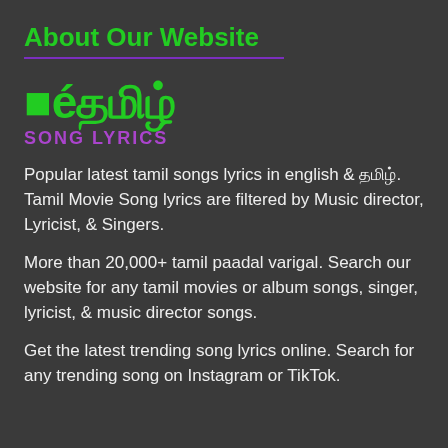About Our Website
[Figure (logo): Tamil Song Lyrics logo with Tamil script in green and 'SONG LYRICS' in purple below]
Popular latest tamil songs lyrics in english & தமிழ். Tamil Movie Song lyrics are filtered by Music director, Lyricist, & Singers.
More than 20,000+ tamil paadal varigal. Search our website for any tamil movies or album songs, singer, lyricist, & music director songs.
Get the latest trending song lyrics online. Search for any trending song on Instagram or TikTok.